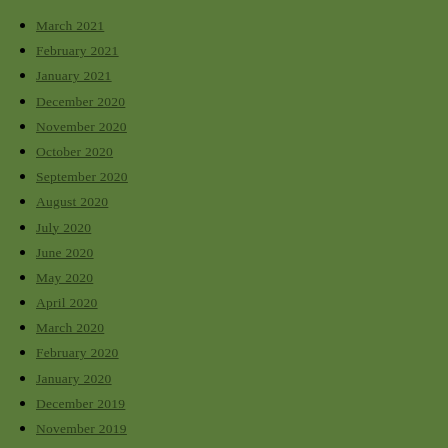March 2021
February 2021
January 2021
December 2020
November 2020
October 2020
September 2020
August 2020
July 2020
June 2020
May 2020
April 2020
March 2020
February 2020
January 2020
December 2019
November 2019
October 2019
September 2019
August 2019
July 2019
June 2019
May 2019